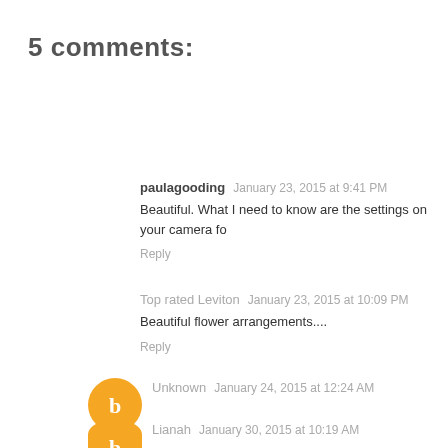5 comments:
paulagooding  January 23, 2015 at 9:41 PM
Beautiful. What I need to know are the settings on your camera fo
Reply
Top rated Leviton  January 23, 2015 at 10:09 PM
Beautiful flower arrangements....
Reply
Unknown  January 24, 2015 at 12:24 AM
This is so lovely, Leela!! I can't believe that you found the ma Also, your studio looks like a magical place!
Reply
Lianah  January 30, 2015 at 10:19 AM